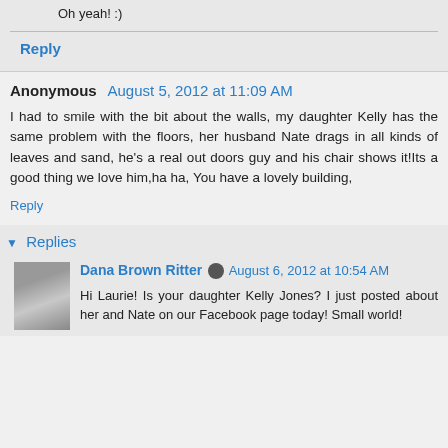Oh yeah! :)
Reply
Anonymous  August 5, 2012 at 11:09 AM
I had to smile with the bit about the walls, my daughter Kelly has the same problem with the floors, her husband Nate drags in all kinds of leaves and sand, he's a real out doors guy and his chair shows it!Its a good thing we love him,ha ha, You have a lovely building,
Reply
Replies
Dana Brown Ritter  August 6, 2012 at 10:54 AM
Hi Laurie! Is your daughter Kelly Jones? I just posted about her and Nate on our Facebook page today! Small world!